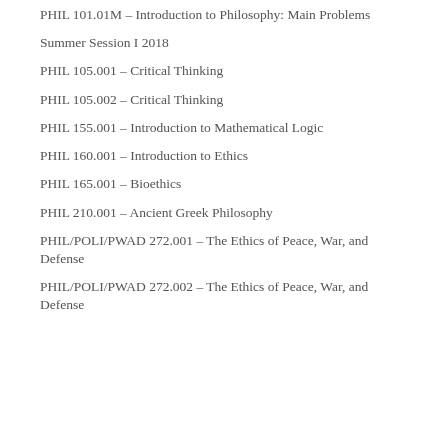PHIL 101.01M – Introduction to Philosophy: Main Problems
Summer Session I 2018
PHIL 105.001 – Critical Thinking
PHIL 105.002 – Critical Thinking
PHIL 155.001 – Introduction to Mathematical Logic
PHIL 160.001 – Introduction to Ethics
PHIL 165.001 – Bioethics
PHIL 210.001 – Ancient Greek Philosophy
PHIL/POLI/PWAD 272.001 – The Ethics of Peace, War, and Defense
PHIL/POLI/PWAD 272.002 – The Ethics of Peace, War, and Defense